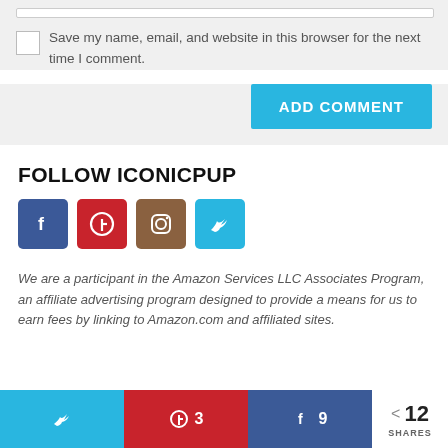Save my name, email, and website in this browser for the next time I comment.
[Figure (screenshot): ADD COMMENT button in sky blue]
FOLLOW ICONICPUP
[Figure (infographic): Social media icons: Facebook (blue), Pinterest (red), Instagram (brown), Twitter (light blue)]
We are a participant in the Amazon Services LLC Associates Program, an affiliate advertising program designed to provide a means for us to earn fees by linking to Amazon.com and affiliated sites.
[Figure (infographic): Share bar with Twitter, Pinterest (3), Facebook (9) buttons and 12 SHARES count]